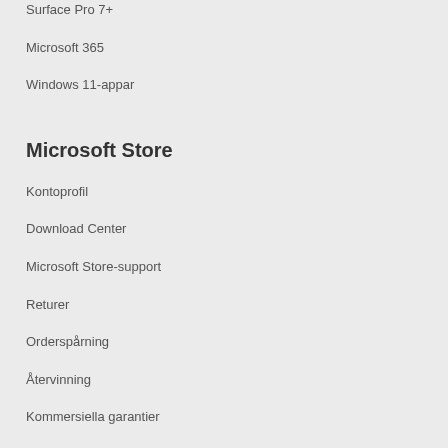Surface Pro 7+
Microsoft 365
Windows 11-appar
Microsoft Store
Kontoprofil
Download Center
Microsoft Store-support
Returer
Orderspårning
Återvinning
Kommersiella garantier
Utbildning
Microsoft Education